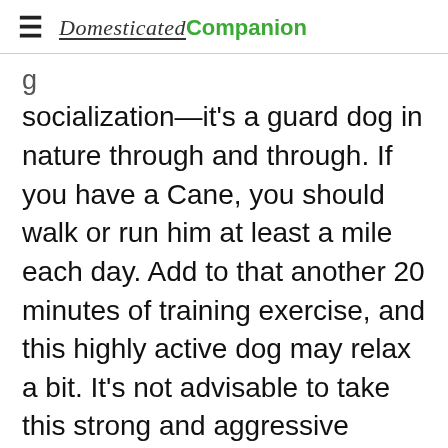Domesticated Companion
socialization—it's a guard dog in nature through and through. If you have a Cane, you should walk or run him at least a mile each day. Add to that another 20 minutes of training exercise, and this highly active dog may relax a bit. It's not advisable to take this strong and aggressive canine to dog parks. Left home alone, a Cane will be very destructive and aggressive. To its credit, the Cane Corso is devoted to its family